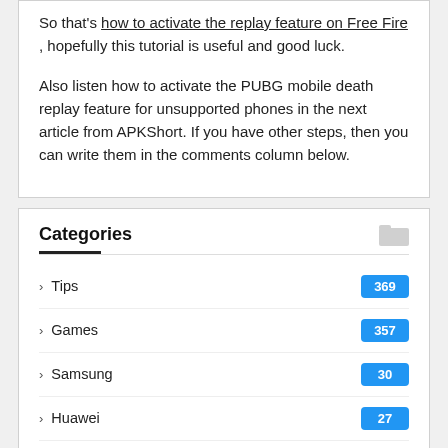So that's how to activate the replay feature on Free Fire , hopefully this tutorial is useful and good luck.
Also listen how to activate the PUBG mobile death replay feature for unsupported phones in the next article from APKShort. If you have other steps, then you can write them in the comments column below.
Categories
Tips 369
Games 357
Samsung 30
Huawei 27
Vi... 21